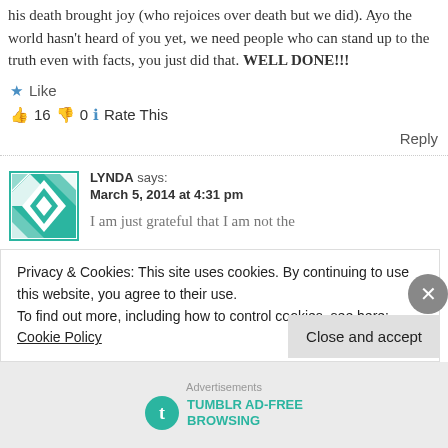his death brought joy (who rejoices over death but we did). Ayo the world hasn't heard of you yet, we need people who can stand up to the truth even with facts, you just did that. WELL DONE!!!
★ Like
👍 16 👎 0 ℹ Rate This
Reply
LYNDA says: March 5, 2014 at 4:31 pm
I am just grateful that I am not the
Privacy & Cookies: This site uses cookies. By continuing to use this website, you agree to their use. To find out more, including how to control cookies, see here: Cookie Policy
Close and accept
Advertisements
TUMBLR AD-FREE BROWSING